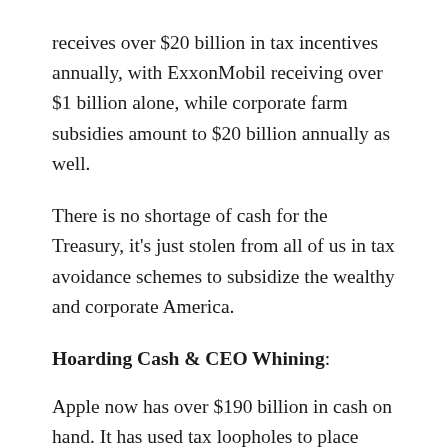receives over $20 billion in tax incentives annually, with ExxonMobil receiving over $1 billion alone, while corporate farm subsidies amount to $20 billion annually as well.
There is no shortage of cash for the Treasury, it's just stolen from all of us in tax avoidance schemes to subsidize the wealthy and corporate America.
Hoarding Cash & CEO Whining:
Apple now has over $190 billion in cash on hand. It has used tax loopholes to place cash offshore and avoid its tax obligations. When Apple used a complex legal scheme that named an Irish